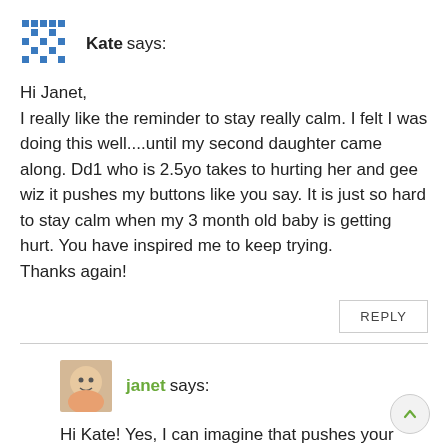Kate says:
Hi Janet,
I really like the reminder to stay really calm. I felt I was doing this well....until my second daughter came along. Dd1 who is 2.5yo takes to hurting her and gee wiz it pushes my buttons like you say. It is just so hard to stay calm when my 3 month old baby is getting hurt. You have inspired me to keep trying.
Thanks again!
REPLY
janet says:
Hi Kate! Yes, I can imagine that pushes your buttons... I would calmly prevent her from hurting the baby and, if possible, I would give the baby a safe enclosed place